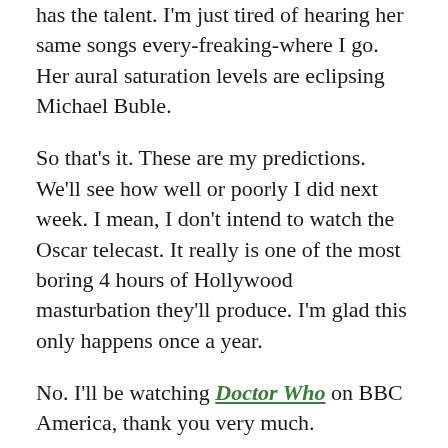has the talent. I'm just tired of hearing her same songs every-freaking-where I go. Her aural saturation levels are eclipsing Michael Buble.
So that's it. These are my predictions. We'll see how well or poorly I did next week. I mean, I don't intend to watch the Oscar telecast. It really is one of the most boring 4 hours of Hollywood masturbation they'll produce. I'm glad this only happens once a year.
No. I'll be watching Doctor Who on BBC America, thank you very much.
Take Care!
Rando!
Share this: